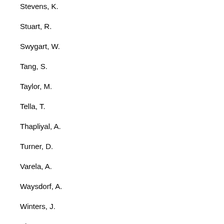Stevens, K.
Stuart, R.
Swygart, W.
Tang, S.
Taylor, M.
Tella, T.
Thapliyal, A.
Turner, D.
Varela, A.
Waysdorf, A.
Winters, J.
Xie, I.
Yang, S.
Yassin, J.
Zhang, W.